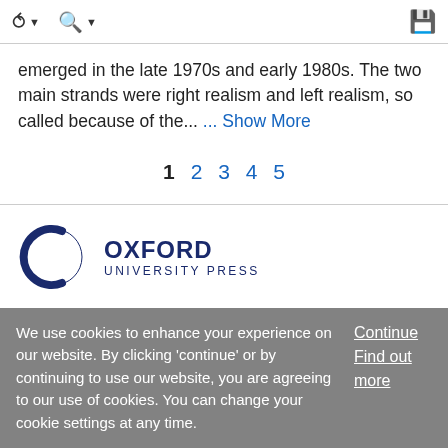Navigation icons: back, search, save
emerged in the late 1970s and early 1980s. The two main strands were right realism and left realism, so called because of the... ... Show More
1 2 3 4 5
[Figure (logo): Oxford University Press logo with circular icon and text OXFORD UNIVERSITY PRESS]
We use cookies to enhance your experience on our website. By clicking 'continue' or by continuing to use our website, you are agreeing to our use of cookies. You can change your cookie settings at any time.
Continue Find out more